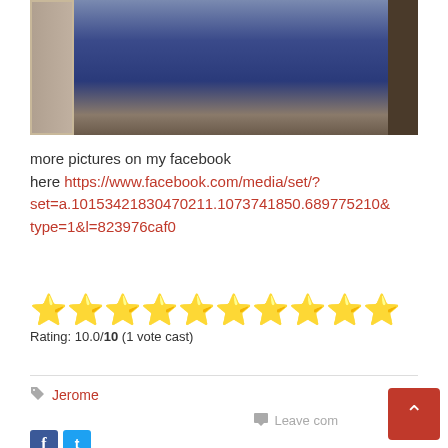[Figure (photo): Partial photo of a blue object (possibly a book or bin) with wooden frame on left and dark background on right]
more pictures on my facebook here https://www.facebook.com/media/set/?set=a.10153421830470211.1073741850.689775210&type=1&l=823976caf0
[Figure (other): 10 gold star rating icons]
Rating: 10.0/10 (1 vote cast)
Jerome
Leave comment